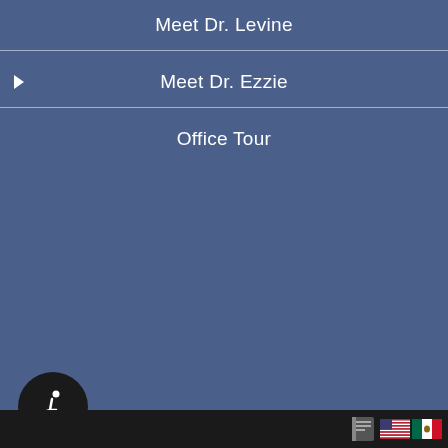Meet Dr. Levine
Meet Dr. Ezzie
Office Tour
[Figure (screenshot): Bottom toolbar with accessibility icon (wheelchair symbol in dark circle), and small flag icons for language selection (unknown, US flag, Mexico flag) on dark background bar]